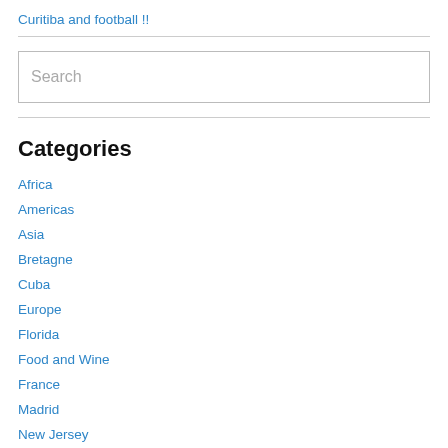Curitiba and football !!
Search
Categories
Africa
Americas
Asia
Bretagne
Cuba
Europe
Florida
Food and Wine
France
Madrid
New Jersey